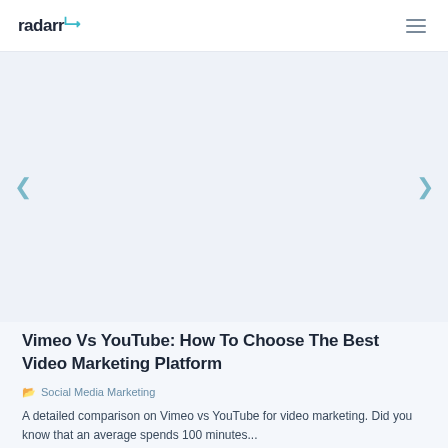radarr
[Figure (screenshot): Light blue-grey carousel/slider area with left and right navigation arrows on either side]
Vimeo Vs YouTube: How To Choose The Best Video Marketing Platform
Social Media Marketing
A detailed comparison on Vimeo vs YouTube for video marketing. Did you know that an average spends 100 minutes...